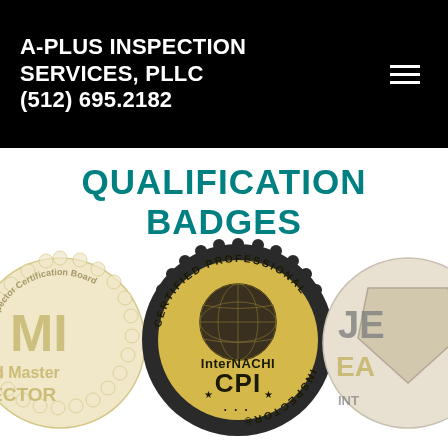A-PLUS INSPECTION SERVICES, PLLC (512) 695.2182
QUALIFICATION BADGES
[Figure (illustration): CMI Master Inspector Certification Board badge (partial, left side), InterNACHI Certified Professional Inspector (CPI) seal badge (center), and a partially visible Ten Years badge (right side). Three qualification/certification badges displayed on a white background.]